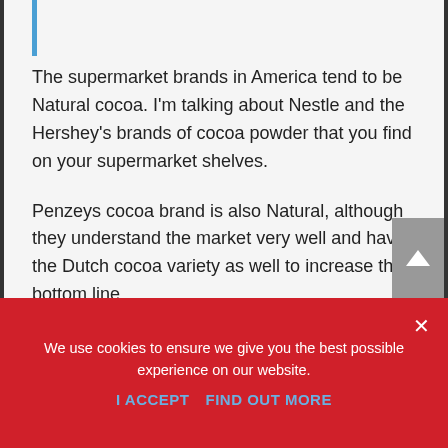The supermarket brands in America tend to be Natural cocoa. I'm talking about Nestle and the Hershey's brands of cocoa powder that you find on your supermarket shelves.
Penzeys cocoa brand is also Natural, although they understand the market very well and have the Dutch cocoa variety as well to increase their bottom line.
We use cookies to ensure we give you the best possible experience on our website.
I ACCEPT   FIND OUT MORE